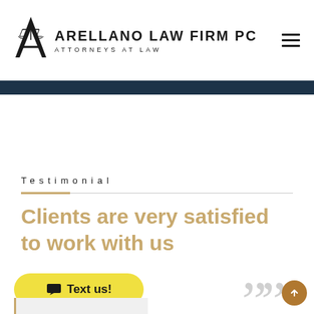[Figure (logo): Arellano Law Firm PC logo with scales of justice icon and text 'ARELLANO LAW FIRM PC ATTORNEYS AT LAW']
Testimonial
Clients are very satisfied to work with us
[Figure (other): Yellow 'Text us!' chat button with speech bubble icon]
[Figure (other): Large decorative quotation marks in light gray]
[Figure (other): Brown circular scroll-to-top arrow button]